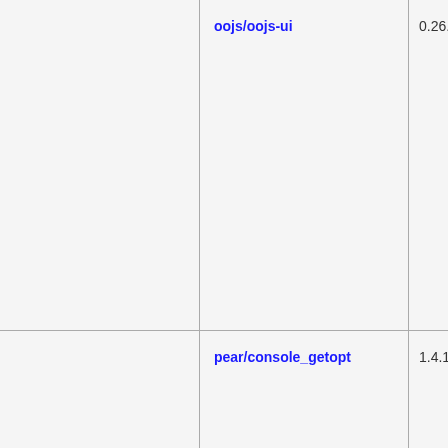| (name) | version | license |
| --- | --- | --- |
| oojs/oojs-ui | 0.26.4 | MIT |
| pear/console_getopt | 1.4.1 | BSD-2-Clause |
| pear/mail | 1.4.1 | BSD-2-Cl... |